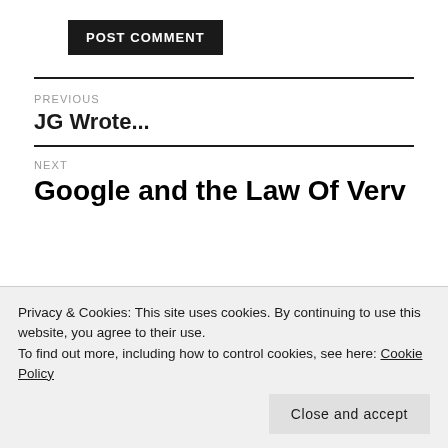POST COMMENT
PREVIOUS
JG Wrote...
NEXT
Google and the Law Of Verv
Privacy & Cookies: This site uses cookies. By continuing to use this website, you agree to their use.
To find out more, including how to control cookies, see here: Cookie Policy
Close and accept